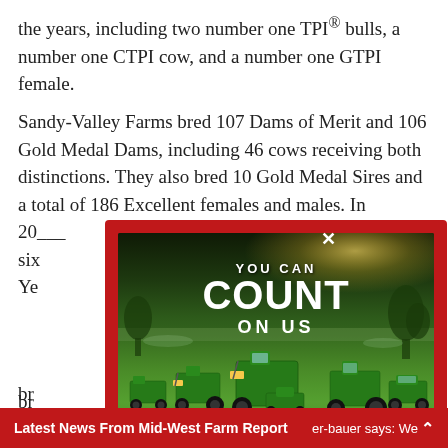the years, including two number one TPI® bulls, a number one CTPI cow, and a number one GTPI female.
Sandy-Valley Farms bred 107 Dams of Merit and 106 Gold Medal Dams, including 46 cows receiving both distinctions. They also bred 10 Gold Medal Sires and a total of 186 Excellent females and males. In 20[...] er six[...] Ye[...]
Th[...] de[...] un[...] an[...] br[...]
[Figure (photo): John Deere Mid-State Equipment advertisement popup showing green John Deere tractors and equipment on a lawn with text 'YOU CAN COUNT ON US' in white letters on a dark background, with logos for John Deere and Mid-State Equipment at the bottom, set inside a red border with an X close button.]
Latest News From Mid-West Farm Report  er-bauer says: We ^